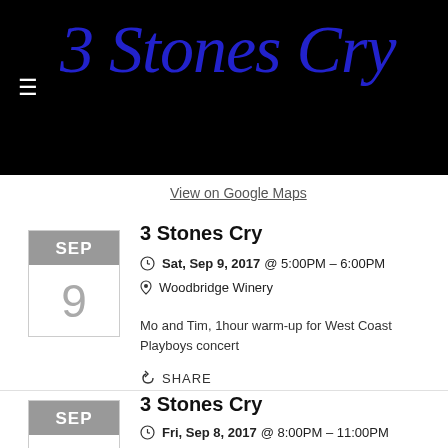3 Stones Cry
View on Google Maps
3 Stones Cry
Sat, Sep 9, 2017 @ 5:00PM – 6:00PM
Woodbridge Winery
Mo and Tim, 1hour warm-up for West Coast Playboys concert
SHARE
3 Stones Cry
Fri, Sep 8, 2017 @ 8:00PM – 11:00PM